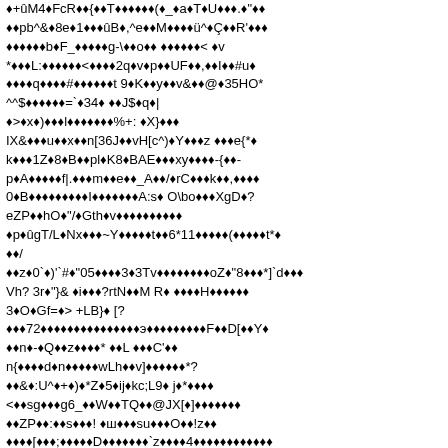♦+ûM4♦FcR♦♦{♦♦T♦♦♦♦♦♦(♦_♦a♦T♦U♦♦♦.♦"♦♦
♦♦pb^&♦8e♦1♦♦♦ûB♦,^e♦♦M♦♦♦♦ü^♦Ç♦♦R'♦♦♦
♦♦♦♦♦♦b♦F_♦♦♦♦♦g-\♦♦o♦♦ ♦♦♦♦♦♦< ♦v
*♦♦♦L:♦♦♦♦♦♦<♦♦♦♦2q♦v♦p♦♦UF♦♦,♦♦I♦♦#u♦
♦♦♦♦q♦♦♦♦#♦♦♦♦♦♦t 9♦K♦♦y♦♦v&♦♦@♦35HΟ*
^^$♦♦♦♦♦♦=`♦34♦ ♦♦J$♦q♦|
♦>♦x♦)♦♦♦l♦♦♦♦♦♦♦%+: ♦X}♦♦♦
IX&♦♦♦u♦♦x♦♦n[36J♦♦vH[c^)♦Y♦♦♦z ♦♦♦e{*♦
k♦♦♦1Z♦8♦B♦♦pl♦K8♦BAE♦♦♦xy♦♦♦♦-{♦♦-
p♦A♦♦♦♦♦f|.♦♦♦m♦♦e♦♦_A♦♦/♦rC♦♦♦k♦♦,♦♦♦♦
0♦B♦♦♦♦♦♦♦♦♦I♦♦♦♦♦♦♦A:s♦ O\bo♦♦♦XgD♦?
eZP♦♦hΟ♦"/♦Gth♦v♦♦♦♦♦♦♦♦♦♦
♦p♦ûgT/L♦Nx♦♦♦~Y♦♦♦♦♦t♦♦6*11♦♦♦♦♦(♦♦♦♦♦t*♦
♦♦/
♦♦z♦0`♦)'`#♦"05♦♦♦♦3♦3Tv♦♦♦♦♦♦♦♦oZ♦"8♦♦♦*]`d♦♦♦
Vh? 3r♦"}& ♦i♦♦♦?rtN♦♦M R♦ ♦♦♦♦H♦♦♦♦♦♦
3♦Ο♦Gf=♦> +LB}♦ [?
♦♦♦72♦♦♦♦♦♦♦♦♦♦♦♦♦♦♦э♦♦♦♦♦♦♦♦♦F♦♦D[♦♦Y♦
♦♦n♦-♦Q♦♦z♦♦♦♦* ♦♦L ♦♦♦C'♦♦
n{♦♦♦♦d♦n♦♦♦♦♦wLh♦♦v]♦♦♦♦♦♦*?
♦♦&♦:U^♦+♦)♦*Z♦5♦ij♦kc;L9♦ j♦*♦♦♦♦
<♦♦sg♦♦♦g6_♦♦W♦♦TQ♦♦@JX[♦]♦♦♦♦♦♦♦
♦♦ZP♦♦:♦♦s♦♦♦! ♦ш♦♦♦su♦♦♦O♦♦!z♦♦
♦♦♦♦[♦♦♦;♦♦♦♦♦D♦♦♦♦♦♦♦`z♦♦♦♦4♦♦♦♦♦♦♦♦♦♦♦♦